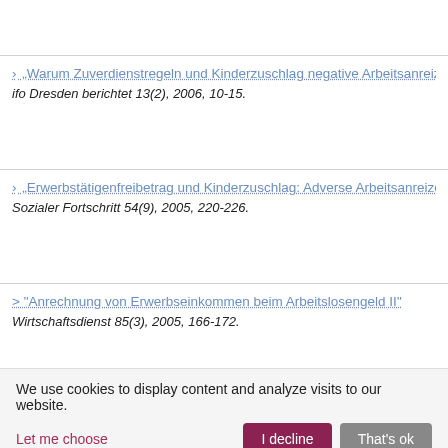› „Warum Zuverdienstregeln und Kinderzuschlag negative Arbeitsanreize se…
ifo Dresden berichtet 13(2), 2006, 10-15.
› „Erwerbstätigenfreibetrag und Kinderzuschlag: Adverse Arbeitsanreize be…
Sozialer Fortschritt 54(9), 2005, 220-226.
› "Anrechnung von Erwerbseinkommen beim Arbeitslosengeld II"
Wirtschaftsdienst 85(3), 2005, 166-172.
› "Die Hartz..."
We use cookies to display content and analyze visits to our website.
Let me choose
I decline
That's ok